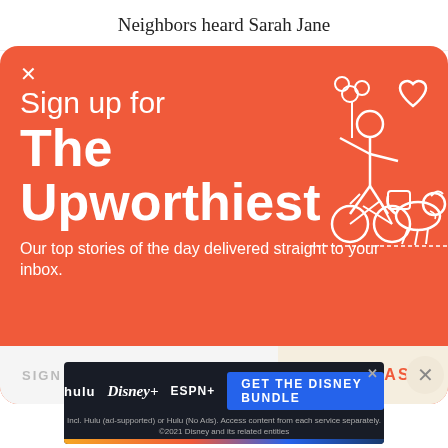Neighbors heard Sarah Jane
[Figure (screenshot): Email signup modal with coral/orange-red background. Title reads 'Sign up for The Upworthiest' with a tagline 'Our top stories of the day delivered straight to your inbox.' An illustration of a person on a bicycle with a dog, flowers, and a heart is in the upper right. Below is an input field labeled 'SIGN ME UP' and a button 'YES PLEASE'. A circular X close button is at the bottom right.]
[Figure (screenshot): Disney Bundle advertisement banner. Shows hulu, Disney+, ESPN+ logos, a 'GET THE DISNEY BUNDLE' button in blue, and fine print text: 'Incl. Hulu (ad-supported) or Hulu (No Ads). Access content from each service separately. ©2021 Disney and its related entities.' A close X button is in the top right.]